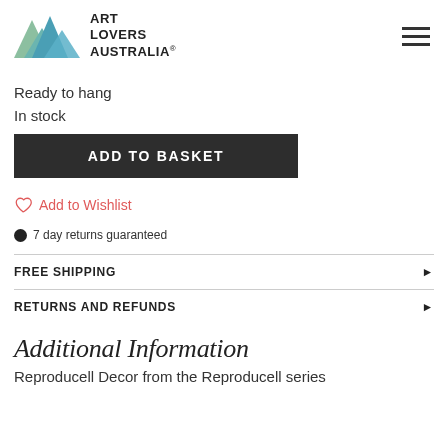Art Lovers Australia
Ready to hang
In stock
ADD TO BASKET
Add to Wishlist
7 day returns guaranteed
FREE SHIPPING
RETURNS AND REFUNDS
Additional Information
Reproducell Decor from the Reproducell series